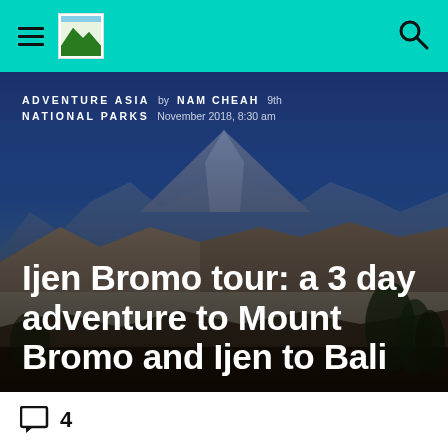Navigation bar with hamburger menu, logo, and search icon
[Figure (photo): Aerial/panoramic photo of volcanic landscape with Mount Bromo and Ijen peaks under a blue sky, with sandy caldera and sparse vegetation in foreground]
ADVENTURE ASIA NATIONAL PARKS  by NAM CHEAH  9th November 2018, 8:30 am
Ijen Bromo tour: a 3 day adventure to Mount Bromo and Ijen to Bali
4